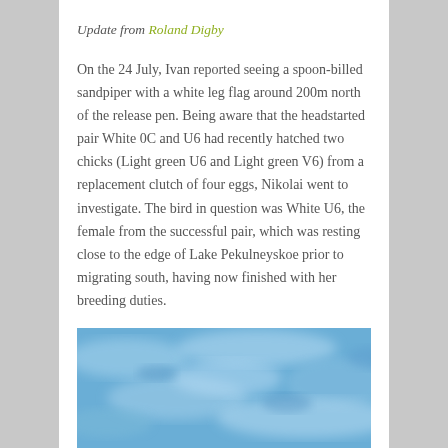Update from Roland Digby
On the 24 July, Ivan reported seeing a spoon-billed sandpiper with a white leg flag around 200m north of the release pen. Being aware that the headstarted pair White 0C and U6 had recently hatched two chicks (Light green U6 and Light green V6) from a replacement clutch of four eggs, Nikolai went to investigate. The bird in question was White U6, the female from the successful pair, which was resting close to the edge of Lake Pekulneyskoe prior to migrating south, having now finished with her breeding duties.
[Figure (photo): A blue water/lake scene, partially visible at the bottom of the page, showing a blurred aerial or close-up view of blue water with light reflections.]